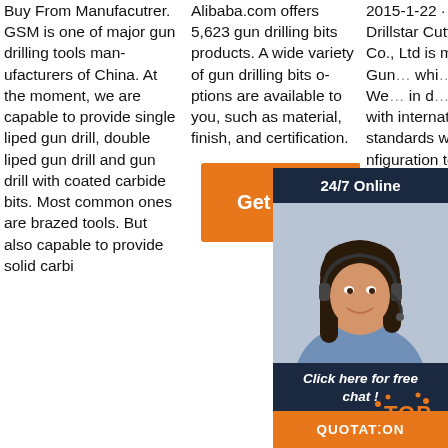Buy From Manufacturer. GSM is one of major gun drilling tools manufacturers of China. At the moment, we are capable to provide single liped gun drill, double liped gun drill and gun drill with coated carbide bits. Most common ones are brazed tools. But also capable to provide solid carbi
Alibaba.com offers 5,623 gun drilling bits products. A wide variety of gun drilling bits options are available to you, such as material, finish, and certification.
[Figure (other): Orange Get Price button]
2015-1-22 · Dezhou Drillstar Cutting Tool Co., Ltd is m... and Gun... whi... ole... We... in d... ucts... ce with international quality standards with best configuration to offer excellent prod
[Figure (infographic): 24/7 Online chat widget with photo of woman with headset, Click here for free chat text, QUOTATION button, and TOP badge]